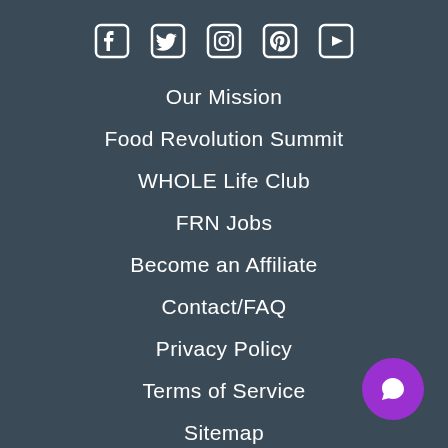[Figure (illustration): Social media icons row: Facebook, Twitter, Instagram, Pinterest, YouTube — white icons on dark background]
Our Mission
Food Revolution Summit
WHOLE Life Club
FRN Jobs
Become an Affiliate
Contact/FAQ
Privacy Policy
Terms of Service
Sitemap
[Figure (illustration): Purple circular chat/comment bubble button in bottom-right corner]